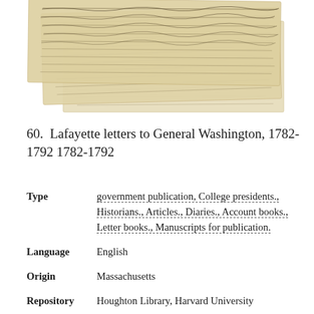[Figure (photo): Photograph of several overlapping historical handwritten manuscript pages with cursive script, appearing aged and yellowed, stacked at slight angles]
60.  Lafayette letters to General Washington, 1782-1792 1782-1792
Type   government publication, College presidents., Historians., Articles., Diaries., Account books., Letter books., Manuscripts for publication.
Language   English
Origin   Massachusetts
Repository   Houghton Library, Harvard University